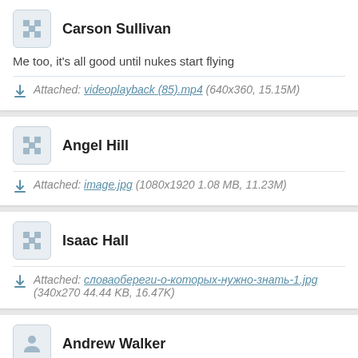Carson Sullivan
Me too, it's all good until nukes start flying
Attached: videoplayback (85).mp4 (640x360, 15.15M)
Angel Hill
Attached: image.jpg (1080x1920 1.08 MB, 11.23M)
Isaac Hall
Attached: словаобереги-о-которых-нужно-знать-1.jpg (340x270 44.44 KB, 16.47K)
Andrew Walker
Poland, Czech Republic, Slovakia, Slovenia is where I'd look at